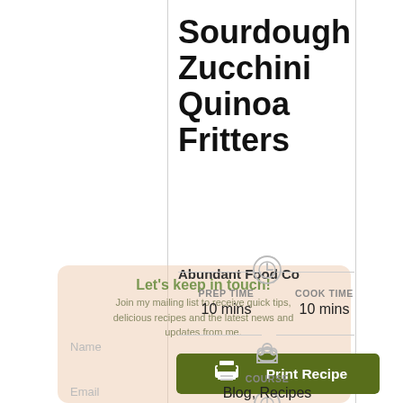Sourdough Zucchini Quinoa Fritters
Abundant Food Co
[Figure (screenshot): Green 'Print Recipe' button with printer icon and white text]
Let's keep in touch!
Join my mailing list to receive quick tips, delicious recipes and the latest news and updates from me.
PREP TIME
10 mins
COOK TIME
10 mins
COURSE
Blog, Recipes